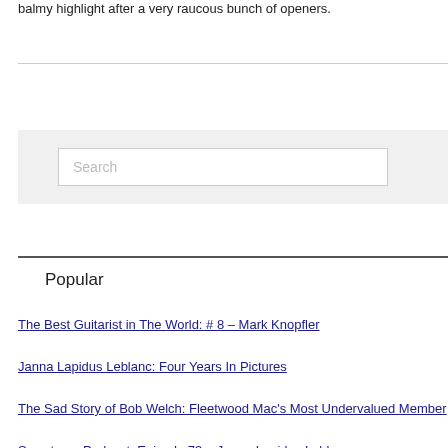balmy highlight after a very raucous bunch of openers.
Search
Popular
The Best Guitarist in The World: # 8 – Mark Knopfler
Janna Lapidus Leblanc: Four Years In Pictures
The Sad Story of Bob Welch: Fleetwood Mac's Most Undervalued Member
Sweetman Podcast: Episode 73 – Janna Lapidus Leblanc